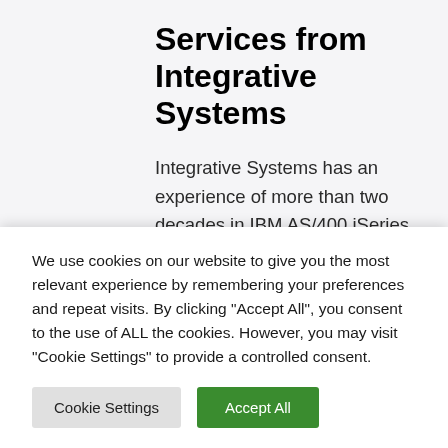Services from Integrative Systems
Integrative Systems has an experience of more than two decades in IBM AS/400 iSeries consulting. Integrative's team of IBMi AS400 professionals can ensure that your projects are well managed, and implementations
We use cookies on our website to give you the most relevant experience by remembering your preferences and repeat visits. By clicking "Accept All", you consent to the use of ALL the cookies. However, you may visit "Cookie Settings" to provide a controlled consent.